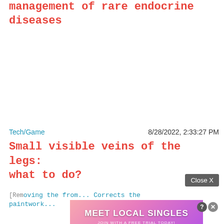management of rare endocrine diseases
Tech/Game	8/28/2022, 2:33:27 PM
Small visible veins of the legs: what to do?
[Figure (screenshot): Close X button overlay on advertisement]
[Figure (photo): Advertisement banner: MEET LOCAL SINGLES with person photo and Clover app logo]
Removing the paintwork... Corrects the paintwork